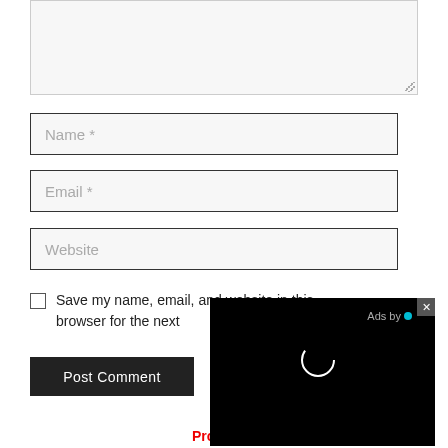[Figure (screenshot): Textarea input box (comment field), partially visible, with light gray background and border, resize handle at bottom right]
Name *
Email *
Website
Save my name, email, and website in this browser for the next
Post Comment
[Figure (screenshot): Black ad overlay video player with circular loading spinner and 'Ads by' label, close button (x) in top right corner]
Profitcumce.